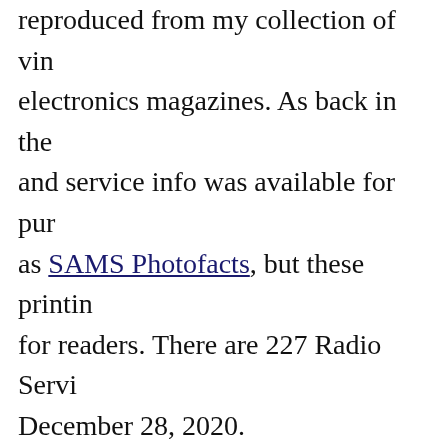reproduced from my collection of vintage electronics magazines. As back in the and service info was available for purchase as SAMS Photofacts, but these printings for readers. There are 227 Radio Service December 28, 2020.
Hoffman Model A300
Emerson Model 505
Olympic Models 6-501, 6-502, 6-503
Radiola Models 61-5, 61-10